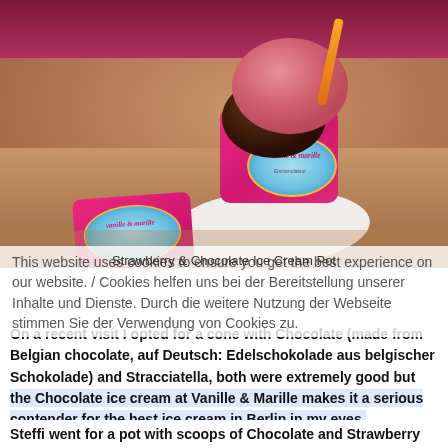[Figure (photo): Pink/magenta cup of ice cream with strawberry and chocolate scoops, an orange spoon, and a matching branded business card on a wooden table. Cup shows 'vanille & marille' logo with illustrated characters on a blue oval label.]
Strawberry & Chocolate Ice Cream Pot
This website uses cookies to ensure you get the best experience on our website. / Cookies helfen uns bei der Bereitstellung unserer Inhalte und Dienste. Durch die weitere Nutzung der Webseite stimmen Sie der Verwendung von Cookies zu.
On a recent visit I opted for a cone with Chocolate (made from Belgian chocolate, auf Deutsch: Edelschokolade aus belgischer Schokolade) and Stracciatella, both were extremely good but the Chocolate ice cream at Vanille & Marille makes it a serious contender for the best ice cream in Berlin in my eyes.
Steffi went for a pot with scoops of Chocolate and Strawberry with